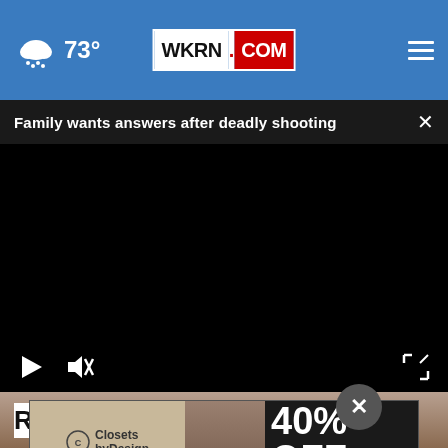WKRN.COM — 73°
Family wants answers after deadly shooting ×
[Figure (screenshot): Black video player area with play button, mute icon, and fullscreen icon controls]
Russia
[Figure (other): Advertisement: Closets by Design — 40% OFF PLUS FREE INSTALLATION, TAP HERE]